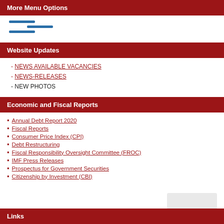More Menu Options
[Figure (other): Three horizontal blue bars representing a hamburger/menu icon]
Website Updates
- NEWS AVAILABLE VACANCIES
- NEWS-RELEASES
- NEW PHOTOS
Economic and Fiscal Reports
Annual Debt Report 2020
Fiscal Reports
Consumer Price Index (CPI)
Debt Restructuring
Fiscal Responsibility Oversight Committee (FROC)
IMF Press Releases
Prospectus for Government Securities
Citizenship by Investment (CBI)
Links